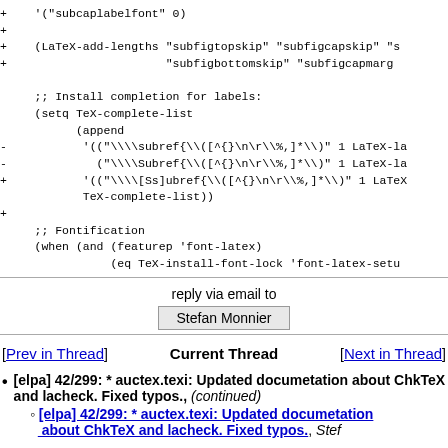Code diff showing subcaplabelfont, LaTeX-add-lengths, setq TeX-complete-list, append with subref patterns, and Fontification section
reply via email to
Stefan Monnier
[Prev in Thread]  Current Thread  [Next in Thread]
[elpa] 42/299: * auctex.texi: Updated documetation about ChkTeX and lacheck. Fixed typos., (continued)
[elpa] 42/299: * auctex.texi: Updated documetation about ChkTeX and lacheck. Fixed typos., Stef